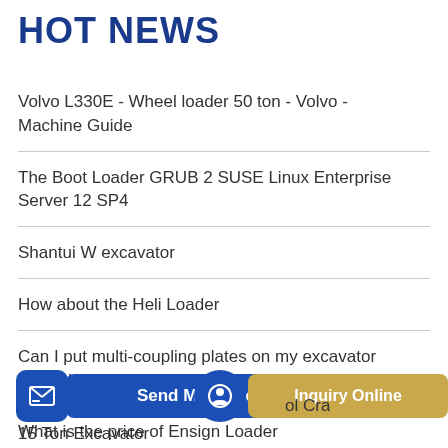HOT NEWS
Volvo L330E - Wheel loader 50 ton - Volvo - Machine Guide
The Boot Loader GRUB 2 SUSE Linux Enterprise Server 12 SP4
Shantui W excavator
How about the Heli Loader
Can I put multi-coupling plates on my excavator to quickly connect
What is the price of Ensign Loader
ol Cra
15 Ton Excavator